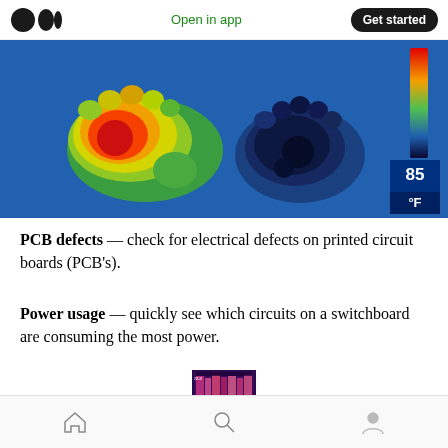Medium logo | Open in app | Get started
[Figure (photo): Thermal infrared image of two human feet showing heat distribution. Left foot shows warm colors (red, yellow, green) indicating higher temperatures, right foot shows cool colors (blue, dark) indicating lower temperatures. Temperature scale on the right shows 85°F.]
PCB defects — check for electrical defects on printed circuit boards (PCB's).
Power usage — quickly see which circuits on a switchboard are consuming the most power.
[Figure (photo): Small thermal image of what appears to be a printed circuit board or switchboard showing heat distribution in orange and purple colors.]
Home | Search | Profile navigation icons